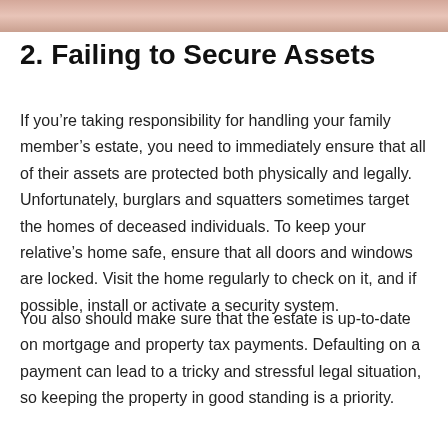[Figure (photo): Decorative image strip at top of page, showing a blurred warm-toned background (pinkish/peach tones).]
2. Failing to Secure Assets
If you’re taking responsibility for handling your family member’s estate, you need to immediately ensure that all of their assets are protected both physically and legally. Unfortunately, burglars and squatters sometimes target the homes of deceased individuals. To keep your relative’s home safe, ensure that all doors and windows are locked. Visit the home regularly to check on it, and if possible, install or activate a security system.
You also should make sure that the estate is up-to-date on mortgage and property tax payments. Defaulting on a payment can lead to a tricky and stressful legal situation, so keeping the property in good standing is a priority.